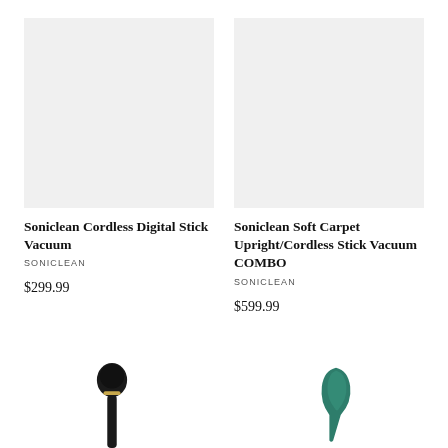[Figure (photo): Product image placeholder for Soniclean Cordless Digital Stick Vacuum - light gray square background]
Soniclean Cordless Digital Stick Vacuum
SONICLEAN
$299.99
[Figure (photo): Product image placeholder for Soniclean Soft Carpet Upright/Cordless Stick Vacuum COMBO - light gray square background]
Soniclean Soft Carpet Upright/Cordless Stick Vacuum COMBO
SONICLEAN
$599.99
[Figure (photo): Bottom portion of black Soniclean vacuum cleaner]
[Figure (photo): Bottom portion of teal/green Soniclean vacuum cleaner]